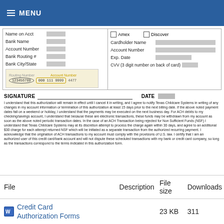MENU
[Figure (other): Partial form showing bank account fields (Name on Acct, Bank Name, Account Number, Bank Routing #, Bank City/State) on the left and credit card fields (Amex, Discover checkboxes, Cardholder Name, Account Number, Exp. Date, CVV) on the right, with a bank check diagram showing routing and account number locations.]
SIGNATURE _____________________________ DATE
I understand that this authorization will remain in effect until I cancel it in writing, and I agree to notify Texas Childcare Systems in writing of any changes in my account information or termination of this authorization at least 15 days prior to the next billing date. If the above noted payment dates fall on a weekend or holiday, I understand that the payments may be executed on the next business day. For ACH debits to my checking/savings account, I understand that because these are electronic transactions, these funds may be withdrawn from my account as soon as the above noted periodic transaction dates. In the case of an ACH Transaction being rejected for Non Sufficient Funds (NSF) I understand that Texas Childcare Systems may at its discretion attempt to process the charge again within 30 days, and agree to an additional $30 charge for each attempt returned NSF which will be initiated as a separate transaction from the authorized recurring payment. I acknowledge that the origination of ACH transactions to my account must comply with the provisions of U.S. law. I certify that I am an authorized user of this credit card/bank account and will not dispute these scheduled transactions with my bank or credit card company, so long as the transactions correspond to the terms indicated in this authorization form.
| File | Description | File size | Downloads |
| --- | --- | --- | --- |
| Credit Card Authorization Forms |  | 23 KB | 311 |